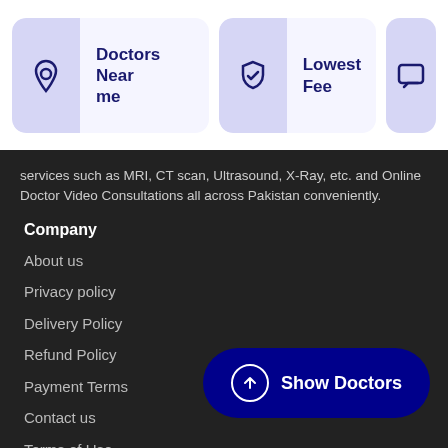[Figure (infographic): Navigation card with location pin icon and text 'Doctors Near me']
[Figure (infographic): Navigation card with shield/check icon and text 'Lowest Fee']
[Figure (infographic): Partial navigation card with chat icon, clipped on right edge]
services such as MRI, CT scan, Ultrasound, X-Ray, etc. and Online Doctor Video Consultations all across Pakistan conveniently.
Company
About us
Privacy policy
Delivery Policy
Refund Policy
Payment Terms
Contact us
Terms of Use
[Figure (other): Show Doctors button with upward arrow icon in a dark navy rounded pill shape]